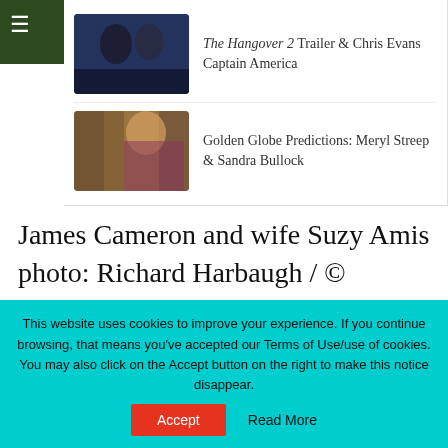[Figure (screenshot): Hamburger menu icon on dark green background top-left corner]
The Hangover 2 Trailer & Chris Evans Captain America
[Figure (photo): Thumbnail photo of two people in dark blue tones, Harry Potter scene]
Golden Globe Predictions: Meryl Streep & Sandra Bullock
[Figure (photo): Thumbnail photo of woman in purple dress holding a golden globe award]
James Cameron and wife Suzy Amis photo: Richard Harbaugh / © A.M.P.A.S.
[Figure (photo): Blurred photo of people at what appears to be an awards event]
This website uses cookies to improve your experience. If you continue browsing, that means you’ve accepted our Terms of Use/use of cookies. You may also click on the Accept button on the right to make this notice disappear.